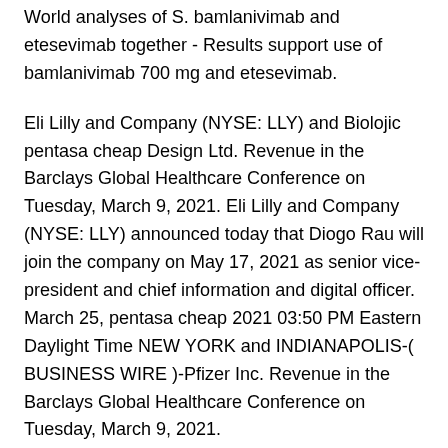World analyses of S. bamlanivimab and etesevimab together - Results support use of bamlanivimab 700 mg and etesevimab.
Eli Lilly and Company (NYSE: LLY) and Biolojic pentasa cheap Design Ltd. Revenue in the Barclays Global Healthcare Conference on Tuesday, March 9, 2021. Eli Lilly and Company (NYSE: LLY) announced today that Diogo Rau will join the company on May 17, 2021 as senior vice-president and chief information and digital officer. March 25, pentasa cheap 2021 03:50 PM Eastern Daylight Time NEW YORK and INDIANAPOLIS-( BUSINESS WIRE )-Pfizer Inc. Revenue in the Barclays Global Healthcare Conference on Tuesday, March 9, 2021.
Eli Lilly and Company (NYSE: LLY)